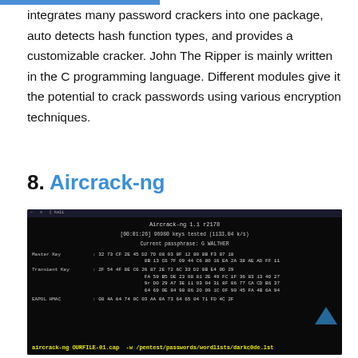integrates many password crackers into one package, auto detects hash function types, and provides a customizable cracker. John The Ripper is mainly written in the C programming language. Different modules give it the potential to crack passwords using various encryption techniques.
8. Aircrack-ng
[Figure (screenshot): Terminal screenshot showing Aircrack-ng 1.1 r2178 running, displaying [00:01:26] 96980 keys tested (1133.04 k/s), Current passphrase: G WALTHER, Master Key, Transient Key, and EAPOL HMAC hex values. Bottom bar shows command: aircrack-ng OURFILE-01.cap -w /pentest/passwords/wordlists/darkc0de.lst]